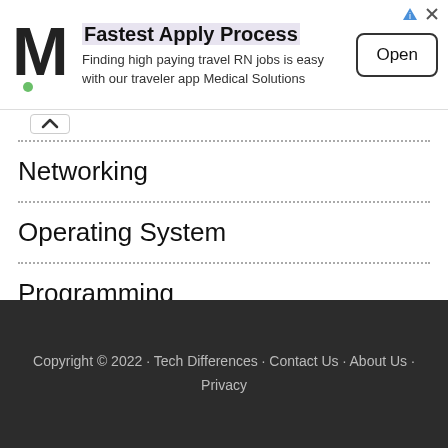[Figure (other): Advertisement banner: M logo for Medical Solutions, text 'Fastest Apply Process - Finding high paying travel RN jobs is easy with our traveler app Medical Solutions', and an 'Open' button.]
Networking
Operating System
Programming
Software
Copyright © 2022 · Tech Differences · Contact Us · About Us · Privacy